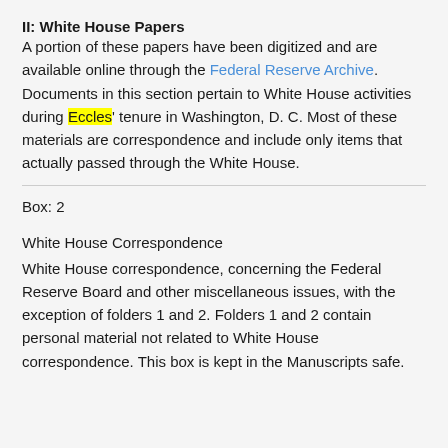II: White House Papers
A portion of these papers have been digitized and are available online through the Federal Reserve Archive. Documents in this section pertain to White House activities during Eccles' tenure in Washington, D. C. Most of these materials are correspondence and include only items that actually passed through the White House.
Box: 2
White House Correspondence
White House correspondence, concerning the Federal Reserve Board and other miscellaneous issues, with the exception of folders 1 and 2. Folders 1 and 2 contain personal material not related to White House correspondence. This box is kept in the Manuscripts safe.